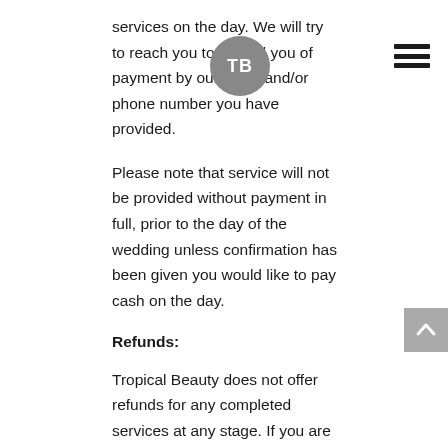services on the day. We will try to reach you to remind you of payment by our email and/or phone number you have provided.
Please note that service will not be provided without payment in full, prior to the day of the wedding unless confirmation has been given you would like to pay cash on the day.
Refunds:
Tropical Beauty does not offer refunds for any completed services at any stage. If you are in any way dissatisfied, the onus is on the client to notify Shae whilst on location.
Cancellations:
Please confirm your numbers carefully at the